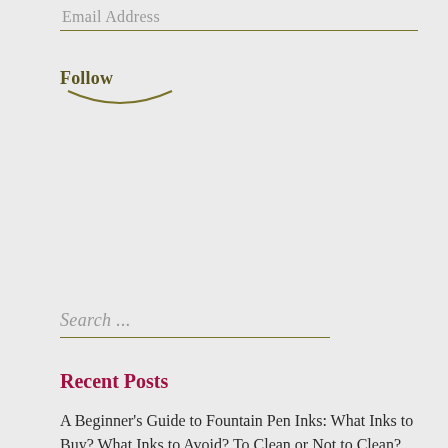Email Address
Follow
Search ...
Recent Posts
A Beginner's Guide to Fountain Pen Inks: What Inks to Buy? What Inks to Avoid? To Clean or Not to Clean? The Ten Rules.